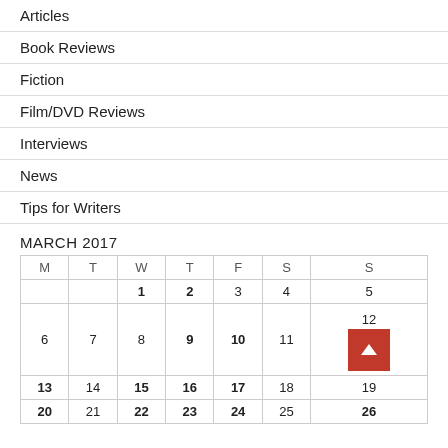Articles
Book Reviews
Fiction
Film/DVD Reviews
Interviews
News
Tips for Writers
MARCH 2017
| M | T | W | T | F | S | S |
| --- | --- | --- | --- | --- | --- | --- |
|  |  | 1 | 2 | 3 | 4 | 5 |
| 6 | 7 | 8 | 9 | 10 | 11 | 12 |
| 13 | 14 | 15 | 16 | 17 | 18 | 19 |
| 20 | 21 | 22 | 23 | 24 | 25 | 26 |